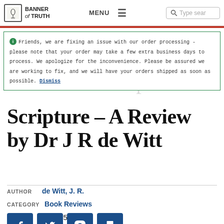Banner of Truth | MENU | Type search
Friends, we are fixing an issue with our order processing - please note that your order may take a few extra business days to process. We apologize for the inconvenience. Please be assured we are working to fix, and we will have your orders shipped as soon as possible. Dismiss
Scripture – A Review by Dr J R de Witt
AUTHOR de Witt, J. R.
CATEGORY Book Reviews
DATE April 15, 2008